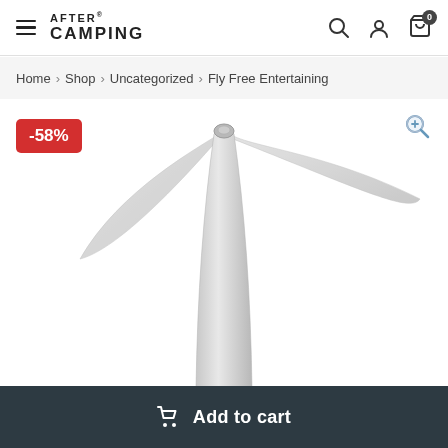AFTER CAMPING - navigation header with hamburger menu, logo, search, account, and cart icons
Home > Shop > Uncategorized > Fly Free Entertaining
[Figure (photo): Close-up product photo of a silver/metallic tabletop fan with spinning blades visible against a white background, showing the cone-shaped base and two curved fan blades. A -58% discount badge is shown in the top-left corner.]
Add to cart